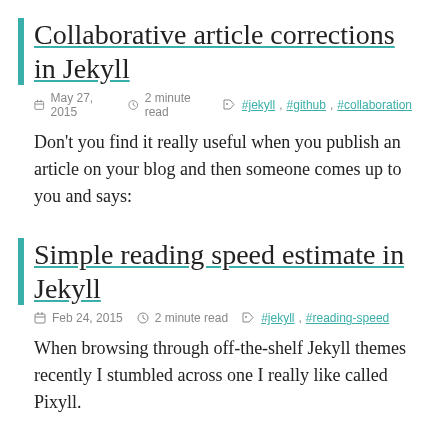Collaborative article corrections in Jekyll
May 27, 2015  2 minute read  #jekyll, #github, #collaboration
Don't you find it really useful when you publish an article on your blog and then someone comes up to you and says:
Simple reading speed estimate in Jekyll
Feb 24, 2015  2 minute read  #jekyll, #reading-speed
When browsing through off-the-shelf Jekyll themes recently I stumbled across one I really like called Pixyll.